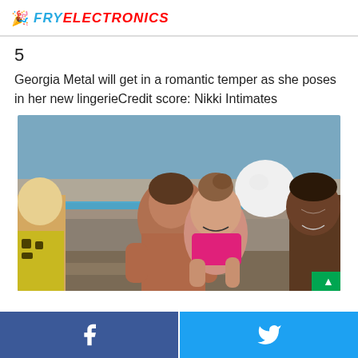FRY ELECTRONICS
5
Georgia Metal will get in a romantic temper as she poses in her new lingerieCredit score: Nikki Intimates
[Figure (photo): Reality TV show scene showing a man leaning close to a young woman in a pink bikini top, with a blonde woman on the left and a shirtless man on the right, outdoor poolside setting]
Share on Facebook | Share on Twitter